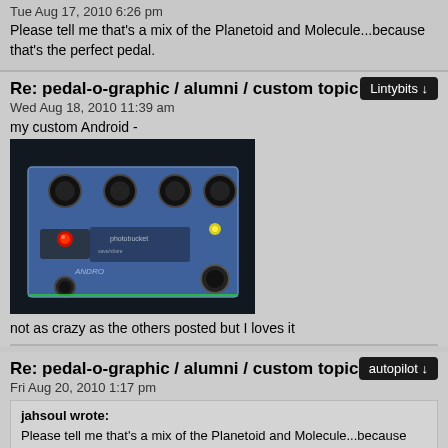Tue Aug 17, 2010 6:26 pm
Please tell me that's a mix of the Planetoid and Molecule...because that's the perfect pedal.
Re: pedal-o-graphic / alumni / custom topic
Lintybits ↓
Wed Aug 18, 2010 11:39 am
my custom Android -
[Figure (photo): Photo of a custom guitar effects pedal with blue metallic finish, multiple knobs, and a red LED indicator light. Photobucket watermark visible.]
not as crazy as the others posted but I loves it
Re: pedal-o-graphic / alumni / custom topic
autopilot ↓
Fri Aug 20, 2010 1:17 pm
jahsoul wrote:
Please tell me that's a mix of the Planetoid and Molecule...because that's the perfect pedal.